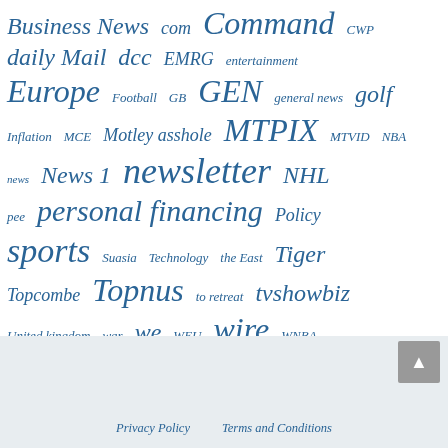Business News  com  Command  CWP
daily Mail  dcc  EMRG  entertainment
Europe  Football  GB  GEN  general news  golf
Inflation  MCE  Motley asshole  MTPIX  MTVID  NBA
news  News 1  newsletter  NHL
pee  personal financing  Policy
sports  Suasia  Technology  the East  Tiger
Topcombe  Topnus  to retreat  tvshowbiz
United kingdom  war  we  WEU  wire  WNBA
Privacy Policy    Terms and Conditions